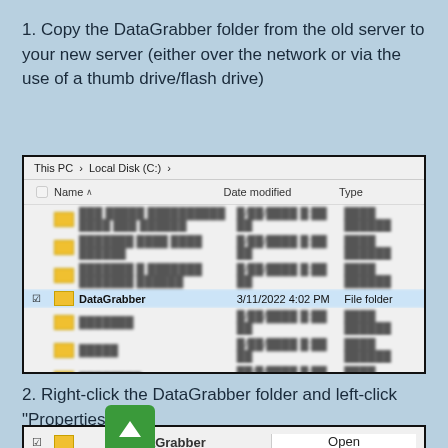1. Copy the DataGrabber folder from the old server to your new server (either over the network or via the use of a thumb drive/flash drive)
[Figure (screenshot): Windows File Explorer showing Local Disk (C:) with DataGrabber folder selected (highlighted in blue), dated 3/11/2022 4:02 PM, File folder type. Other blurred folders visible above and below.]
2. Right-click the DataGrabber folder and left-click "Properties"
[Figure (screenshot): Partial screenshot showing a context menu or dialog for DataGrabber folder, with a green up-arrow button overlaid. Shows DataGrabber row checked and Open option visible.]